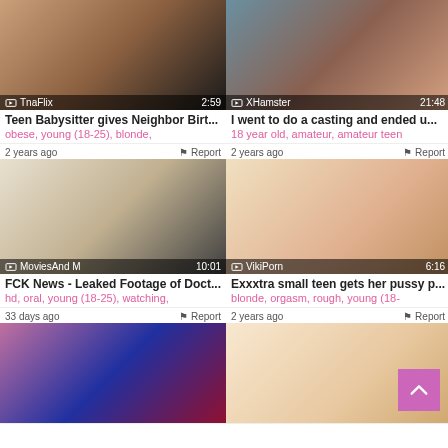[Figure (screenshot): Video thumbnail grid showing 6 adult video thumbnails in a 2-column layout with metadata including site name, duration, age, report link, title, and tags.]
TnaFlix | 2:59 | Teen Babysitter gives Neighbor Birt... | obese, young (18-25), blonde,
XHamster | 21:48 | I went to do a casting and ended u... | 18 year old, amateur, amateur teen
2 years ago | Report | MoviesAnd M | 10:01 | FCK News - Leaked Footage of Doct... | hd, oral, young (18-25), watching,
2 years ago | Report | VikiPorn | 6:16 | Exxxtra small teen gets her pussy p... | blonde, orgasm, rough, young (18-
33 days ago | Report | (bottom left video)
2 years ago | Report | (bottom right video)